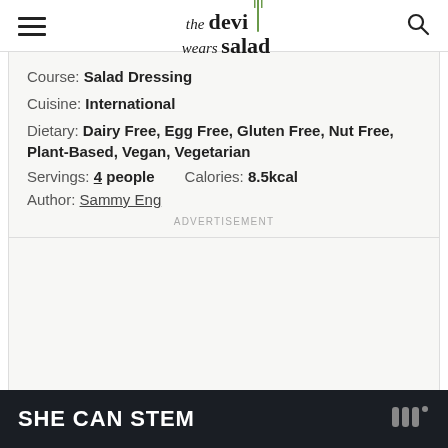the devi wears salad
Course: Salad Dressing
Cuisine: International
Dietary: Dairy Free, Egg Free, Gluten Free, Nut Free, Plant-Based, Vegan, Vegetarian
Servings: 4 people    Calories: 8.5kcal
Author: Sammy Eng
ADVERTISEMENT
SHE CAN STEM